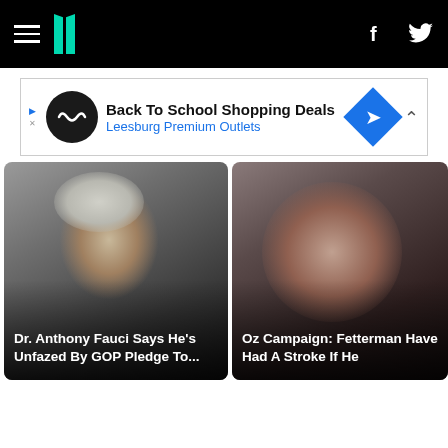HuffPost navigation with hamburger menu, logo, Facebook and Twitter icons
[Figure (screenshot): Advertisement banner: Back To School Shopping Deals – Leesburg Premium Outlets]
[Figure (photo): Dr. Anthony Fauci close-up portrait in dark setting]
Dr. Anthony Fauci Says He's Unfazed By GOP Pledge To...
[Figure (photo): Man with beard speaking, close-up, dark setting]
Oz Campaign: Fetterman Have Had A Stroke If He